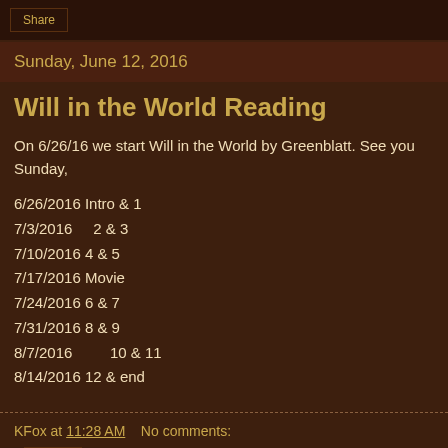Share
Sunday, June 12, 2016
Will in the World Reading
On 6/26/16 we start Will in the World by Greenblatt.  See you Sunday,
6/26/2016 Intro & 1
7/3/2016    2 & 3
7/10/2016 4 & 5
7/17/2016 Movie
7/24/2016 6 & 7
7/31/2016 8 & 9
8/7/2016          10 & 11
8/14/2016 12 & end
KFox at 11:28 AM    No comments:
Share